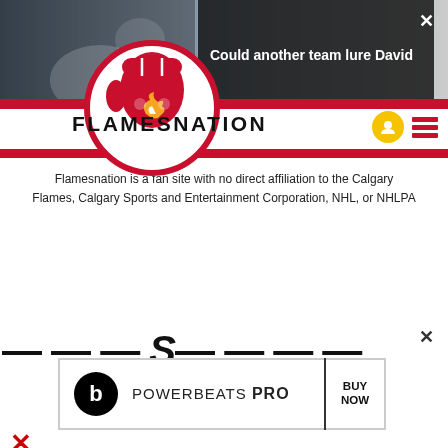[Figure (screenshot): Hockey player photo background banner at top of page]
Could another team lure David
[Figure (logo): FlamesNation logo: red fist with flame inside a circle]
FLAMESNATION
Flamesnation is a fan site with no direct affiliation to the Calgary Flames, Calgary Sports and Entertainment Corporation, NHL, or NHLPA
[Figure (other): Beats Powerbeats Pro advertisement banner: BUY NOW]
×